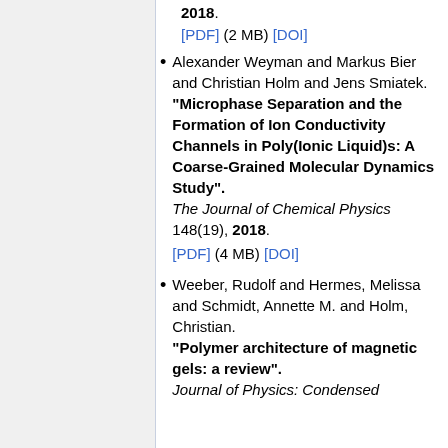2018. [PDF] (2 MB) [DOI]
Alexander Weyman and Markus Bier and Christian Holm and Jens Smiatek. "Microphase Separation and the Formation of Ion Conductivity Channels in Poly(Ionic Liquid)s: A Coarse-Grained Molecular Dynamics Study". The Journal of Chemical Physics 148(19), 2018. [PDF] (4 MB) [DOI]
Weeber, Rudolf and Hermes, Melissa and Schmidt, Annette M. and Holm, Christian. "Polymer architecture of magnetic gels: a review". Journal of Physics: Condensed